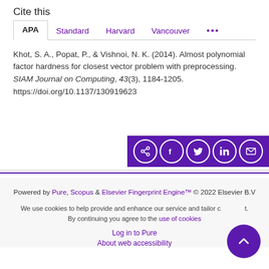Cite this
APA   Standard   Harvard   Vancouver   •••
Khot, S. A., Popat, P., & Vishnoi, N. K. (2014). Almost polynomial factor hardness for closest vector problem with preprocessing. SIAM Journal on Computing, 43(3), 1184-1205. https://doi.org/10.1137/130919623
[Figure (other): Share icons bar with share, Facebook, Twitter, LinkedIn, and email icons on purple background]
Powered by Pure, Scopus & Elsevier Fingerprint Engine™ © 2022 Elsevier B.V
We use cookies to help provide and enhance our service and tailor content. By continuing you agree to the use of cookies
Log in to Pure
About web accessibility